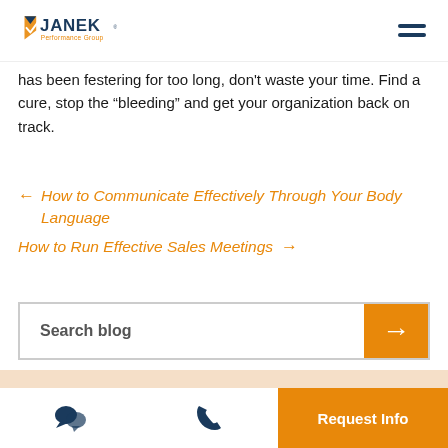JANEK Performance Group
has been festering for too long, don't waste your time. Find a cure, stop the “bleeding” and get your organization back on track.
← How to Communicate Effectively Through Your Body Language
How to Run Effective Sales Meetings →
Search blog
Request Info